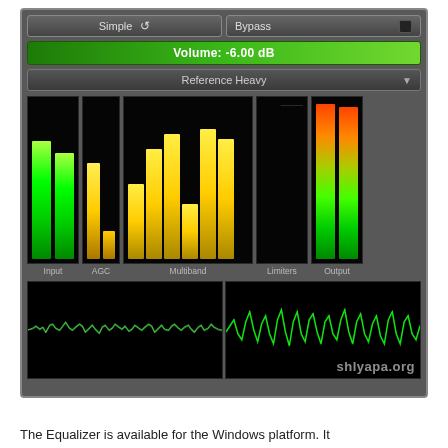[Figure (screenshot): Audio equalizer/dynamics processor plugin UI screenshot showing Input, AGC, Multiband, Limiters, and Output meters with green and yellow bar graphs, volume control set to -6.00 dB, Reference Heavy preset, and dual waveform displays at the bottom.]
The Equalizer is available for the Windows platform. It